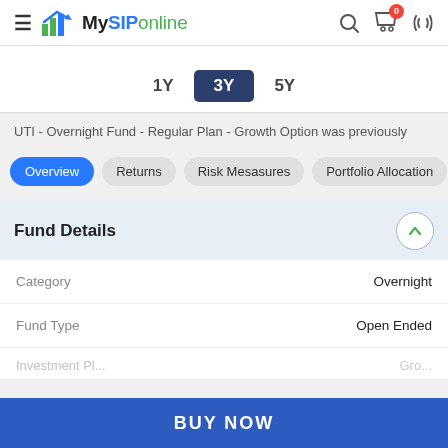MySIPonline
[Figure (other): Time period selector showing 1Y, 3Y (active/selected), 5Y tabs]
UTI - Overnight Fund - Regular Plan - Growth Option was previously
Overview
Returns
Risk Mesasures
Portfolio Allocation
Return
Fund Details
| Field | Value |
| --- | --- |
| Category | Overnight |
| Fund Type | Open Ended |
| Investment Plan | Growth |